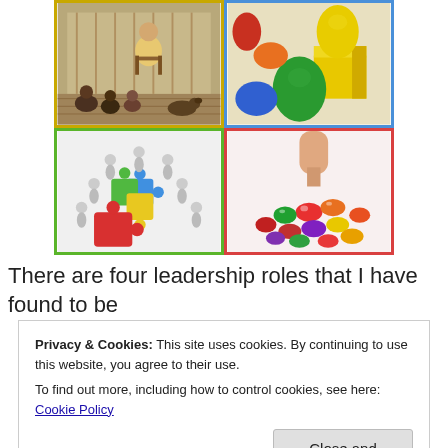[Figure (illustration): 2x2 grid of four photos: top-left shows an elderly woman storytelling to children (yellow border), top-right shows colorful toy blocks/eggs (blue border), bottom-left shows 3D figures around puzzle pieces (green border), bottom-right shows a hand picking colorful candies/M&Ms (red border).]
There are four leadership roles that I have found to be
Privacy & Cookies: This site uses cookies. By continuing to use this website, you agree to their use.
To find out more, including how to control cookies, see here: Cookie Policy